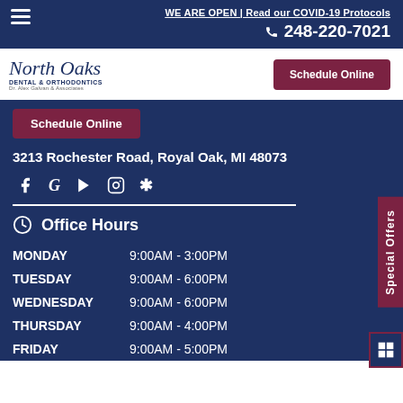WE ARE OPEN | Read our COVID-19 Protocols
☎ 248-220-7021
[Figure (logo): North Oaks Dental & Orthodontics logo with script text]
Schedule Online
Schedule Online
3213 Rochester Road, Royal Oak, MI 48073
[Figure (infographic): Social media icons: Facebook, Google, YouTube, Instagram, Yelp]
Office Hours
| Day | Hours |
| --- | --- |
| MONDAY | 9:00AM - 3:00PM |
| TUESDAY | 9:00AM - 6:00PM |
| WEDNESDAY | 9:00AM - 6:00PM |
| THURSDAY | 9:00AM - 4:00PM |
| FRIDAY | 9:00AM - 5:00PM |